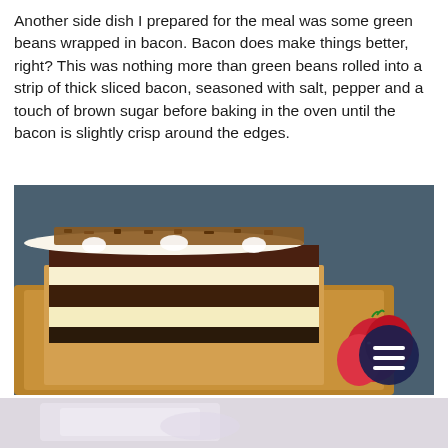Another side dish I prepared for the meal was some green beans wrapped in bacon. Bacon does make things better, right? This was nothing more than green beans rolled into a strip of thick sliced bacon, seasoned with salt, pepper and a touch of brown sugar before baking in the oven until the bacon is slightly crisp around the edges.
[Figure (photo): A layered chocolate and cream dessert bar topped with toasted coconut and pecans, served on a gold tray with strawberries visible in the foreground. A dark navy circular menu button with three horizontal lines overlays the bottom right of the image.]
[Figure (photo): Partial view of a second food image at the bottom of the page, showing a light-colored dish, mostly cropped out of frame.]